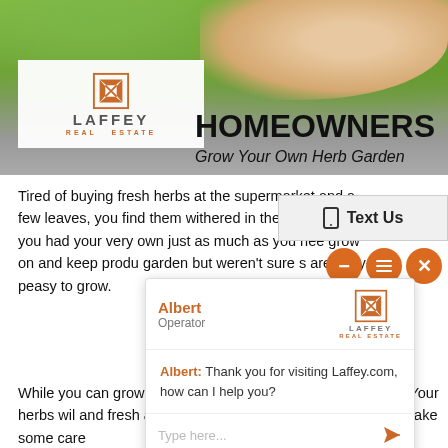[Figure (photo): Header image showing herb garden with green plants, a hand/fist in background. Laffey Real Estate logo on left, HOMEOWNERS title and 'Grow Your Own Herb Garden' subtitle on right.]
Tired of buying fresh herbs at the supermarket and a few leaves, you find them withered in the fridge, sa? if you had your very own just as much as you nee grow on and keep produ garden but weren't sure s are easy-peasy to grow.
[Figure (screenshot): Live chat popup overlay with Text Us button at top, orange FAB buttons (minus, lines, X), chat panel with Albert (Operator) from Laffey Real Estate, message 'Albert: Thank you for visiting Laffey.com, how can I help you?', text input area, and 'Powered By: LiveAdmins' footer.]
While you can grow herb with a grow lamp, you ca outdoors. Your herbs wil and fresh air, so it's worth a try. What's more, if you take some care